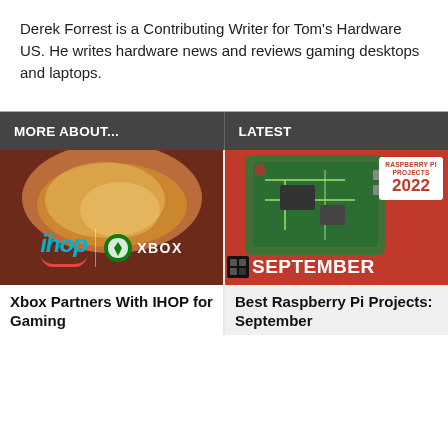Derek Forrest is a Contributing Writer for Tom's Hardware US. He writes hardware news and reviews gaming desktops and laptops.
MORE ABOUT...
LATEST
[Figure (photo): IHOP and Xbox logos overlaid on a food image with brown/red background]
Xbox Partners With IHOP for Gaming
[Figure (photo): Raspberry Pi Projects September 2022 magazine cover with red background, circuit board, and chip]
Best Raspberry Pi Projects: September